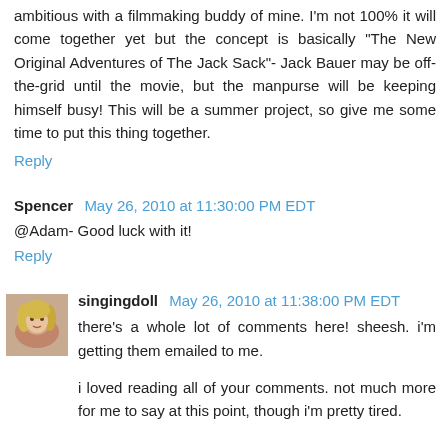ambitious with a filmmaking buddy of mine. I'm not 100% it will come together yet but the concept is basically "The New Original Adventures of The Jack Sack"- Jack Bauer may be off-the-grid until the movie, but the manpurse will be keeping himself busy! This will be a summer project, so give me some time to put this thing together.
Reply
Spencer  May 26, 2010 at 11:30:00 PM EDT
@Adam- Good luck with it!
Reply
singingdoll  May 26, 2010 at 11:38:00 PM EDT
there's a whole lot of comments here! sheesh. i'm getting them emailed to me.
i loved reading all of your comments. not much more for me to say at this point, though i'm pretty tired.